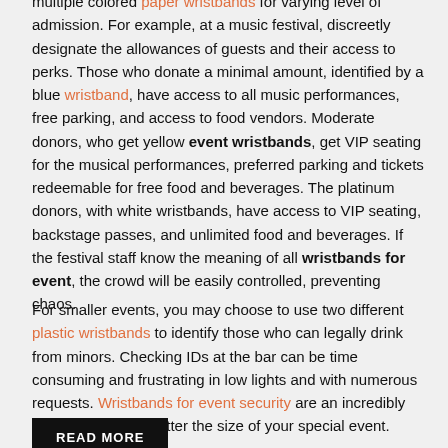multiple colored paper wristbands for varying level of admission. For example, at a music festival, discreetly designate the allowances of guests and their access to perks. Those who donate a minimal amount, identified by a blue wristband, have access to all music performances, free parking, and access to food vendors. Moderate donors, who get yellow event wristbands, get VIP seating for the musical performances, preferred parking and tickets redeemable for free food and beverages. The platinum donors, with white wristbands, have access to VIP seating, backstage passes, and unlimited food and beverages. If the festival staff know the meaning of all wristbands for event, the crowd will be easily controlled, preventing chaos.
For smaller events, you may choose to use two different plastic wristbands to identify those who can legally drink from minors. Checking IDs at the bar can be time consuming and frustrating in low lights and with numerous requests. Wristbands for event security are an incredibly helpful detail, no matter the size of your special event.
READ MORE